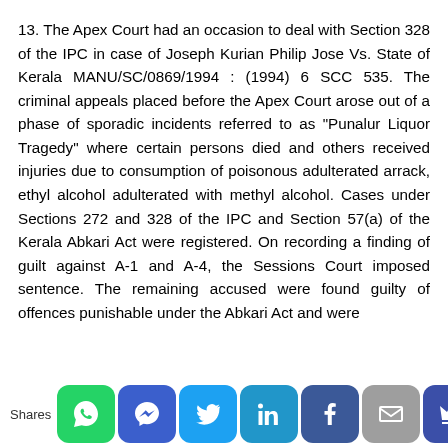13. The Apex Court had an occasion to deal with Section 328 of the IPC in case of Joseph Kurian Philip Jose Vs. State of Kerala MANU/SC/0869/1994 : (1994) 6 SCC 535. The criminal appeals placed before the Apex Court arose out of a phase of sporadic incidents referred to as "Punalur Liquor Tragedy" where certain persons died and others received injuries due to consumption of poisonous adulterated arrack, ethyl alcohol adulterated with methyl alcohol. Cases under Sections 272 and 328 of the IPC and Section 57(a) of the Kerala Abkari Act were registered. On recording a finding of guilt against A-1 and A-4, the Sessions Court imposed sentence. The remaining accused were found guilty of offences punishable under the Abkari Act and were
[Figure (infographic): Social share bar with Shares label and icons: WhatsApp (green), Messenger (blue), Twitter (light blue), LinkedIn (blue), Facebook (dark blue), Email (grey), Crown/other (dark blue)]